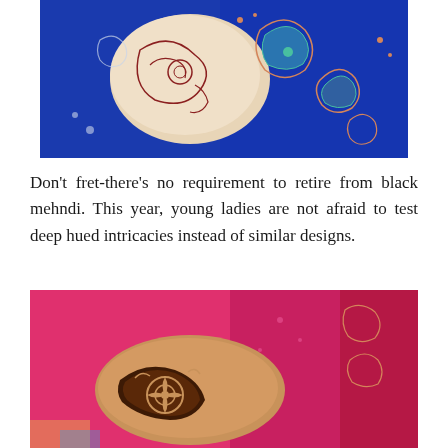[Figure (photo): Close-up photo of a hand with intricate henna/mehndi designs, showing detailed floral and paisley patterns in dark reddish-brown color against a vibrant blue fabric with colorful embroidery]
Don't fret-there's no requirement to retire from black mehndi. This year, young ladies are not afraid to test deep hued intricacies instead of similar designs.
[Figure (photo): Photo of a hand with dark brown/black mehndi designs against bright pink fabric, showing detailed henna patterns on the hand with red/pink traditional clothing in the background]